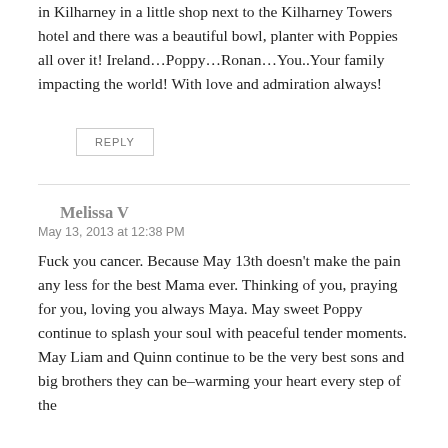in Kilharney in a little shop next to the Kilharney Towers hotel and there was a beautiful bowl, planter with Poppies all over it! Ireland…Poppy…Ronan…You..Your family impacting the world! With love and admiration always!
REPLY
Melissa V
May 13, 2013 at 12:38 PM
Fuck you cancer. Because May 13th doesn't make the pain any less for the best Mama ever. Thinking of you, praying for you, loving you always Maya. May sweet Poppy continue to splash your soul with peaceful tender moments. May Liam and Quinn continue to be the very best sons and big brothers they can be–warming your heart every step of the